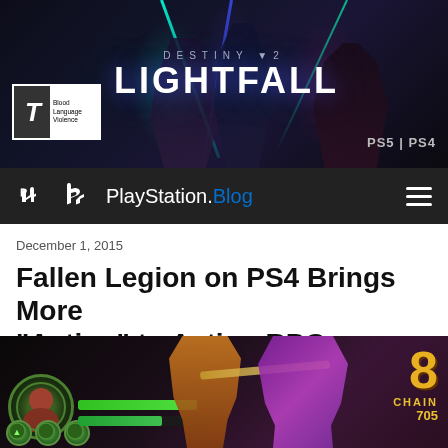[Figure (photo): Destiny 2: Lightfall promotional banner featuring three armed characters against a dark sci-fi background with laser beams. ESRB Teen rating badge in bottom-left. PS5|PS4 platform badge in bottom-right.]
PlayStation.Blog
December 1, 2015
Fallen Legion on PS4 Brings More “Action” to Action RPGs
26   8   34
[Figure (screenshot): Gameplay screenshot from Fallen Legion showing a warrior character and purple enemy with health bars, attack circles, and a chain counter showing 8 CHAIN 705 in the top-right corner.]